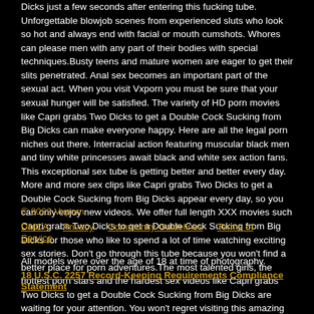Dicks just a few seconds after entering this fucking tube. Unforgettable blowjob scenes from experienced sluts who look so hot and always end with facial or mouth cumshots. Whores can please men with any part of their bodies with special techniques.Busty teens and mature women are eager to get their slits penetrated. Anal sex becomes an important part of the sexual act. When you visit Vxporn you must be sure that your sexual hunger will be satisfied. The variety of HD porn movies like Capri grabs Two Dicks to get a Double Cock Sucking from Big Dicks can make everyone happy. Here are all the legal porn niches out there. Interracial action featuring muscular black men and tiny white princesses await black and white sex action fans. This exceptional sex tube is getting better and better every day. More and more sex clips like Capri grabs Two Dicks to get a Double Cock Sucking from Big Dicks appear every day, so you can only enjoy new videos. We offer full length XXX movies such Capri grabs Two Dicks to get a Double Cock Sucking from Big Dicks for those who like to spend a lot of time watching exciting sex stories. Don't go through this tube because you won't find a better place for porn adventures.The most talented girls, the hottest porn stars and the hardest sex videos like Capri grabs Two Dicks to get a Double Cock Sucking from Big Dicks are waiting for your attention. You won't regret visiting this amazing tube because sexy women have been working hard on cams.
© 2022 Vxporn
DMCA  Privacy  Community Guidelines  Terms of Service
All models were over the age of 18 at time of photography.
18 U.S.C. 2257 Record-Keeping Requirements Compliance Statement